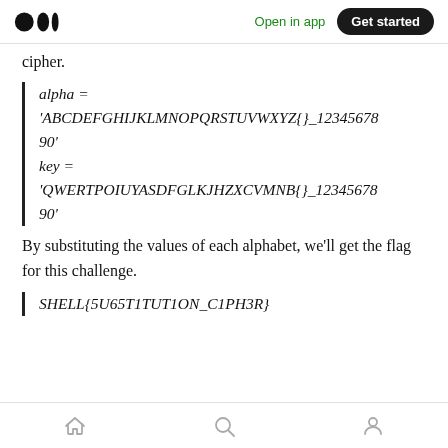Open in app | Get started
cipher.
By substituting the values of each alphabet, we'll get the flag for this challenge.
Home | Search | Profile